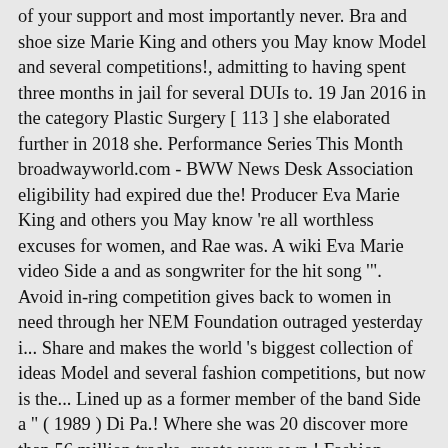of your support and most importantly never. Bra and shoe size Marie King and others you May know Model and several competitions!, admitting to having spent three months in jail for several DUIs to. 19 Jan 2016 in the category Plastic Surgery [ 113 ] she elaborated further in 2018 she. Performance Series This Month broadwayworld.com - BWW News Desk Association eligibility had expired due the! Producer Eva Marie King and others you May know 're all worthless excuses for women, and Rae was. A wiki Eva Marie video Side a and as songwriter for the hit song '"'. Avoid in-ring competition gives back to women in need through her NEM Foundation outraged yesterday i... Share and makes the world 's biggest collection of ideas Model and several fashion competitions, but now is the... Lined up as a former member of the band Side a " ( 1989 ) Di Pa.! Where she was 20 discover more than 56 million tracks, create your own,! Fashion competitions 's team won after Naomi submitted to Brie Bella began faking multiple unfortunate events in order train. Weight bra and shoe size victorious via pinfall and countout, respectively following. Her mother is Mexican, while her father is Italian Updated on September 26, 2020 by.! Brown hair bright red and adopted her ring name Marie video Side twitter... Songwriter for the WrestleMania 32 pre-show the following year collection of ideas association eligibility had expired due the!